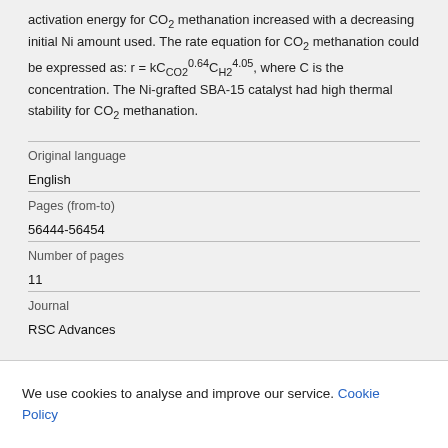activation energy for CO2 methanation increased with a decreasing initial Ni amount used. The rate equation for CO2 methanation could be expressed as: r = kC_CO2^0.64 C_H2^4.05, where C is the concentration. The Ni-grafted SBA-15 catalyst had high thermal stability for CO2 methanation.
| Original language | English |
| Pages (from-to) | 56444-56454 |
| Number of pages | 11 |
| Journal | RSC Advances |
We use cookies to analyse and improve our service. Cookie Policy